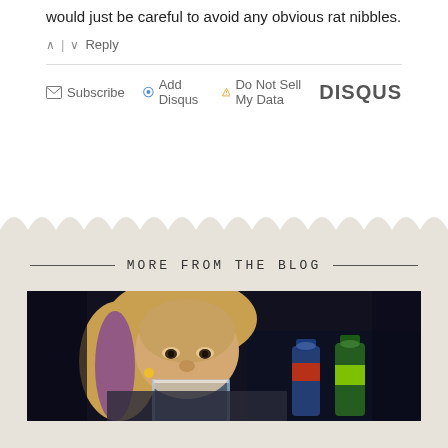would just be careful to avoid any obvious rat nibbles.
↑ | ↓  Reply
✉ Subscribe  ⊙ Add Disqus  ▲ Do Not Sell My Data  DISQUS
MORE FROM THE BLOG
[Figure (photo): Woman with blonde and purple-streaked hair drinking from a glass, with bottles visible in the background against a dark backdrop.]